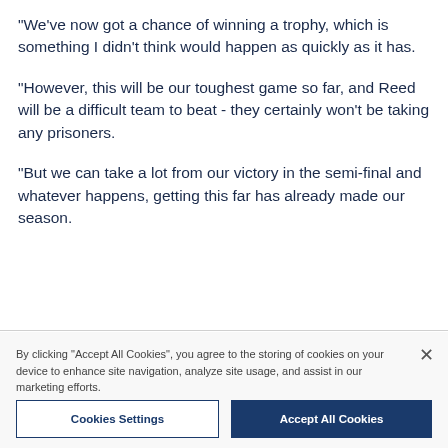"We've now got a chance of winning a trophy, which is something I didn't think would happen as quickly as it has.

"However, this will be our toughest game so far, and Reed will be a difficult team to beat - they certainly won't be taking any prisoners.

"But we can take a lot from our victory in the semi-final and whatever happens, getting this far has already made our season.
By clicking "Accept All Cookies", you agree to the storing of cookies on your device to enhance site navigation, analyze site usage, and assist in our marketing efforts.
Cookies Settings
Accept All Cookies